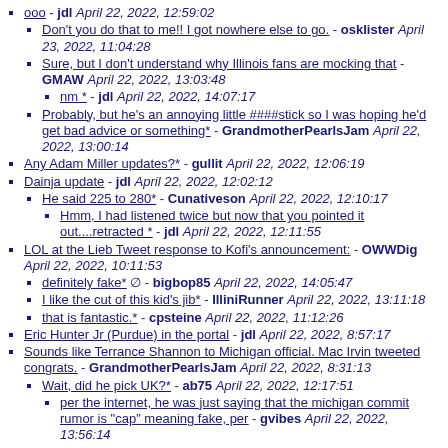ooo - jdl April 22, 2022, 12:59:02
Don't you do that to me!! I got nowhere else to go. - osklister April 23, 2022, 11:04:28
Sure, but I don't understand why Illinois fans are mocking that - GMAW April 22, 2022, 13:03:48
nm * - jdl April 22, 2022, 14:07:17
Probably, but he's an annoying little ####stick so I was hoping he'd get bad advice or something* - GrandmotherPearlsJam April 22, 2022, 13:00:14
Any Adam Miller updates?* - gullit April 22, 2022, 12:06:19
Dainja update - jdl April 22, 2022, 12:02:12
He said 225 to 280* - Cunativeson April 22, 2022, 12:10:17
Hmm, I had listened twice but now that you pointed it out....retracted * - jdl April 22, 2022, 12:11:55
LOL at the Lieb Tweet response to Kofi's announcement: - OWWDig April 22, 2022, 10:11:53
definitely fake* [icon] - bigbop85 April 22, 2022, 14:05:47
I like the cut of this kid's jib* - IlliniRunner April 22, 2022, 13:11:18
that is fantastic.* - cpsteine April 22, 2022, 11:12:26
Eric Hunter Jr (Purdue) in the portal - jdl April 22, 2022, 8:57:17
Sounds like Terrance Shannon to Michigan official. Mac Irvin tweeted congrats. - GrandmotherPearlsJam April 22, 2022, 8:31:13
Wait, did he pick UK?* - ab75 April 22, 2022, 12:17:51
per the internet, he was just saying that the michigan commit rumor is "cap" meaning fake, per - gvibes April 22, 2022, 13:56:14
$100 says he's already committed to Michigan & is just